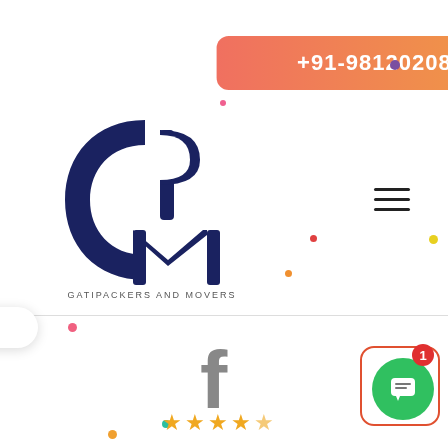[Figure (screenshot): Phone number button with gradient orange-red background showing +91-9812020871]
[Figure (logo): GPM - Gati Packers and Movers logo, dark navy blue circular/letter mark with text below]
[Figure (screenshot): Hamburger menu icon (three horizontal lines)]
[Figure (screenshot): REQUEST QUOTE button in cyan/teal color]
[Figure (screenshot): Facebook 'f' icon in gray]
How Can I Help You ...
[Figure (screenshot): 4.5 star rating shown with golden stars]